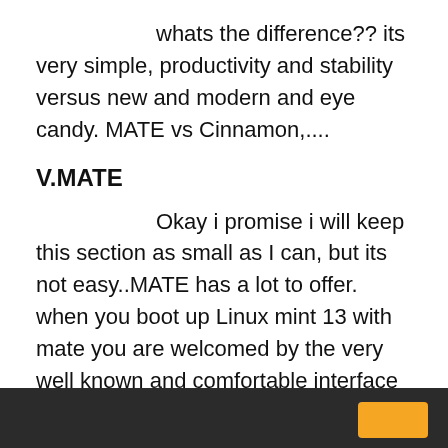whats the difference?? its very simple, productivity and stability versus new and modern and eye candy. MATE vs Cinnamon,....
V.MATE
Okay i promise i will keep this section as small as I can, but its not easy..MATE has a lot to offer. when you boot up Linux mint 13 with mate you are welcomed by the very well known and comfortable interface ever. In MATE things just more and there is no complications like unity or other interface..
MATE uses the famous mint menu( i love this) its classic and it just works. You